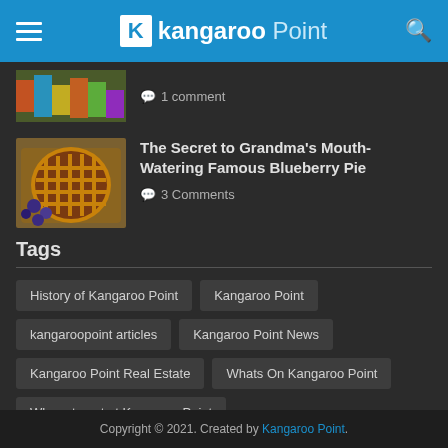Kangaroo Point
[Figure (photo): Partially visible thumbnail image at top (cut off)]
1 comment
[Figure (photo): Blueberry pie thumbnail photo]
The Secret to Grandma's Mouth-Watering Famous Blueberry Pie
3 Comments
Tags
History of Kangaroo Point
Kangaroo Point
kangaroopoint articles
Kangaroo Point News
Kangaroo Point Real Estate
Whats On Kangaroo Point
Where to eat at Kangaroo Point
Copyright © 2021. Created by Kangaroo Point.